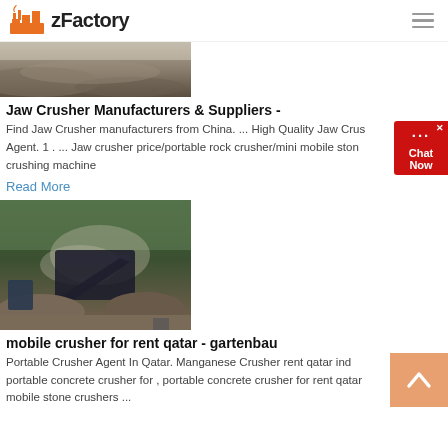zFactory
[Figure (photo): Aerial view of crushed stone/gravel pile at mining or quarry site]
Jaw Crusher Manufacturers & Suppliers -
Find Jaw Crusher manufacturers from China. ... High Quality Jaw Crusher Agent. 1 . ... Jaw crusher price/portable rock crusher/mini mobile stone crushing machine
Read More
[Figure (photo): Mobile crusher machine at a construction or quarry site with dust and gravel piles]
mobile crusher for rent qatar - gartenbau
Portable Crusher Agent In Qatar. Manganese Crusher rent qatar ind portable concrete crusher for , portable concrete crusher for rent qatar mobile stone crushers ...